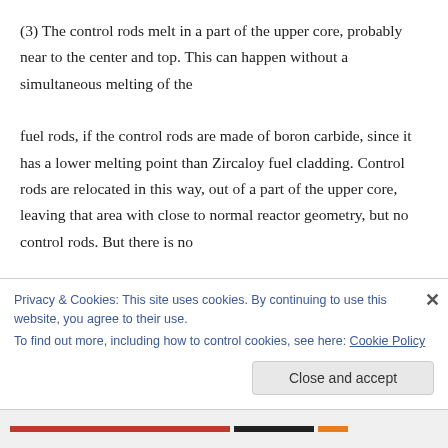(3) The control rods melt in a part of the upper core, probably near to the center and top. This can happen without a simultaneous melting of the fuel rods, if the control rods are made of boron carbide, since it has a lower melting point than Zircaloy fuel cladding. Control rods are relocated in this way, out of a part of the upper core, leaving that area with close to normal reactor geometry, but no control rods. But there is no
Privacy & Cookies: This site uses cookies. By continuing to use this website, you agree to their use.
To find out more, including how to control cookies, see here: Cookie Policy